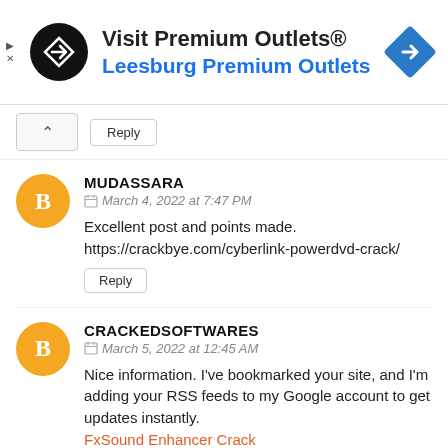[Figure (infographic): Advertisement banner for Visit Premium Outlets® - Leesburg Premium Outlets with logo circle and navigation diamond icon]
Reply
MUDASSARA
March 4, 2022 at 7:47 PM
Excellent post and points made. https://crackbye.com/cyberlink-powerdvd-crack/
Reply
CRACKEDSOFTWARES
March 5, 2022 at 12:45 AM
Nice information. I've bookmarked your site, and I'm adding your RSS feeds to my Google account to get updates instantly. FxSound Enhancer Crack
Reply
CRASHBOY